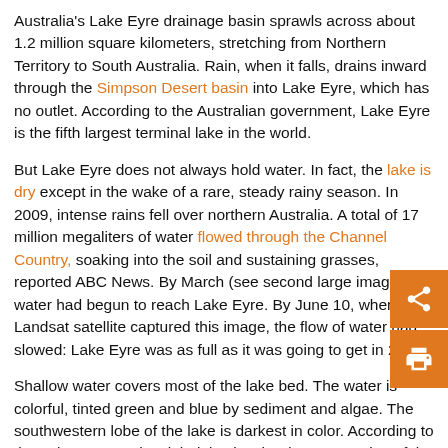Australia's Lake Eyre drainage basin sprawls across about 1.2 million square kilometers, stretching from Northern Territory to South Australia. Rain, when it falls, drains inward through the Simpson Desert basin into Lake Eyre, which has no outlet. According to the Australian government, Lake Eyre is the fifth largest terminal lake in the world.
But Lake Eyre does not always hold water. In fact, the lake is dry except in the wake of a rare, steady rainy season. In 2009, intense rains fell over northern Australia. A total of 17 million megaliters of water flowed through the Channel Country, soaking into the soil and sustaining grasses, reported ABC News. By March (see second large image), water had begun to reach Lake Eyre. By June 10, when the Landsat satellite captured this image, the flow of water had slowed: Lake Eyre was as full as it was going to get in 2009.
Shallow water covers most of the lake bed. The water is colorful, tinted green and blue by sediment and algae. The southwestern lobe of the lake is darkest in color. According to the Lake Eyre Yacht Club, it is also the deepest portion of the lake at 1.4 meters (4.6 feet). When it fills, Lake Eyre and the wetlands in the basin provide an important habitat for birds and fish. Birds flocked to the lake when it began filling in 2009.